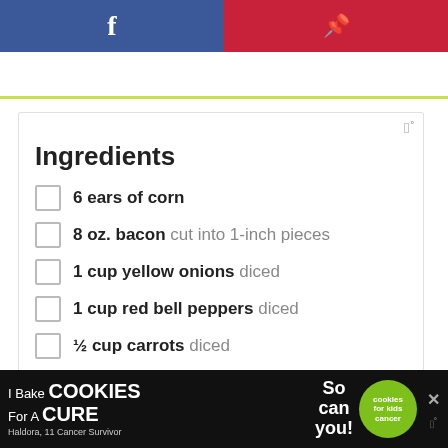f | P (social share bar)
Ingredients
6 ears of corn
8 oz. bacon cut into 1-inch pieces
1 cup yellow onions diced
1 cup red bell peppers diced
½ cup carrots diced
⅓ cup celery diced
1 Tbsp. garlic minced
6 thyme sprigs
2 bay leaves
2 Tbsp. apple cider vinegar
[Figure (other): Advertisement banner: I Bake COOKIES For A CURE - Haldora, 11 Cancer Survivor - So can you! - cookies for kids cancer logo]